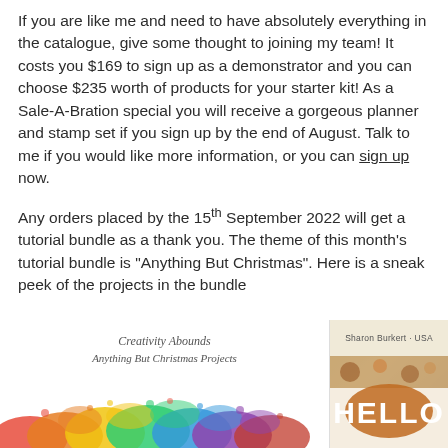If you are like me and need to have absolutely everything in the catalogue, give some thought to joining my team! It costs you $169 to sign up as a demonstrator and you can choose $235 worth of products for your starter kit! As a Sale-A-Bration special you will receive a gorgeous planner and stamp set if you sign up by the end of August. Talk to me if you would like more information, or you can sign up now.
Any orders placed by the 15th September 2022 will get a tutorial bundle as a thank you. The theme of this month's tutorial bundle is "Anything But Christmas". Here is a sneak peek of the projects in the bundle
[Figure (illustration): A colorful rainbow powder splash illustration with script text reading 'Creativity Abounds Anything But Christmas Projects']
[Figure (photo): A card with 'HELLO' stamped in bold letters on an orange/brown circular background, with 'Sharon Burkert - USA' text at top]